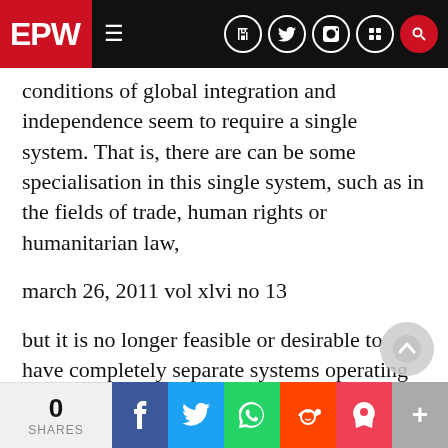EPW
conditions of global integration and independence seem to require a single system. That is, there are can be some specialisation in this single system, such as in the fields of trade, human rights or humanitarian law,
march 26, 2011 vol xlvi no 13
but it is no longer feasible or desirable to have completely separate systems operating regionally or thematically. But international law cannot be limited to the European system of interstate relations that evolved since the 18th century, which was simply a regional system, like the